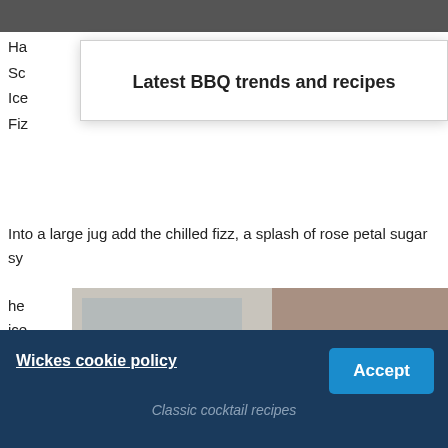[Figure (photo): Top portion of a photo partially visible at the top of the page, dark/blurred background]
Ha
Sc
Ice
Fiz
[Figure (screenshot): Modal overlay popup with title 'Latest BBQ trends and recipes' on white background]
Latest BBQ trends and recipes
Into a large jug add the chilled fizz, a splash of rose petal sugar sy...he ice...sc
[Figure (photo): Photo of people clinking cocktail glasses with straws and garnishes, woman smiling in background]
Classic cocktail recipes
[Figure (screenshot): Cookie consent banner at bottom with dark blue background, Wickes cookie policy link and Accept button]